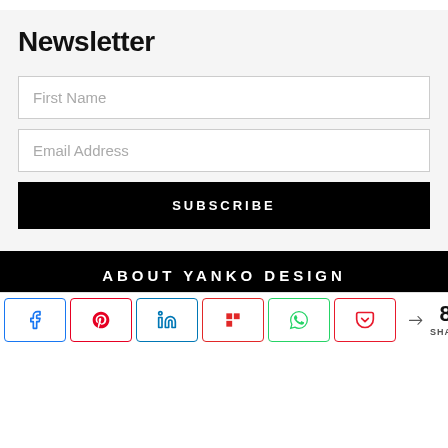Newsletter
First Name
Email Address
SUBSCRIBE
ABOUT YANKO DESIGN
[Figure (infographic): Social share bar with Facebook, Pinterest, LinkedIn, Flipboard, WhatsApp, and Pocket buttons, plus a share count showing 82 SHARES]